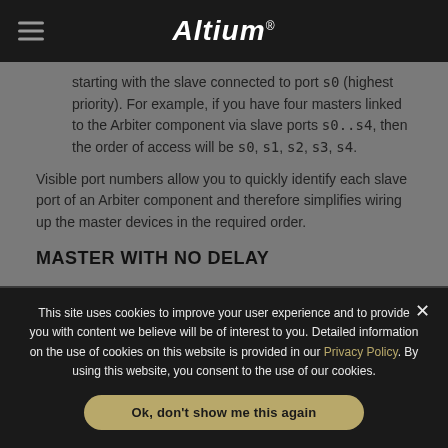Altium
starting with the slave connected to port s0 (highest priority). For example, if you have four masters linked to the Arbiter component via slave ports s0..s4, then the order of access will be s0, s1, s2, s3, s4.
Visible port numbers allow you to quickly identify each slave port of an Arbiter component and therefore simplifies wiring up the master devices in the required order.
MASTER WITH NO DELAY
This site uses cookies to improve your user experience and to provide you with content we believe will be of interest to you. Detailed information on the use of cookies on this website is provided in our Privacy Policy. By using this website, you consent to the use of our cookies.
Ok, don't show me this again